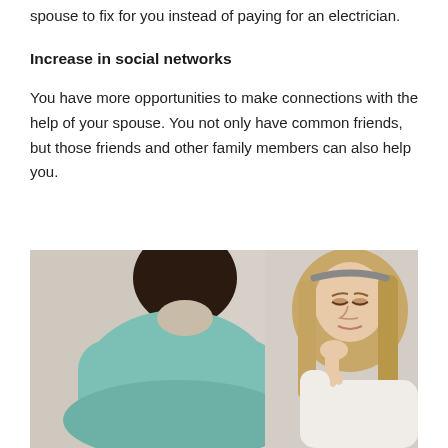spouse to fix for you instead of paying for an electrician.
Increase in social networks
You have more opportunities to make connections with the help of your spouse. You not only have common friends, but those friends and other family members can also help you.
[Figure (photo): Two people in conversation; person on left seen from behind wearing a teal/mint top, person on right is a woman with long blonde hair and a headband, hand raised to chin, looking thoughtful, warm neutral background.]